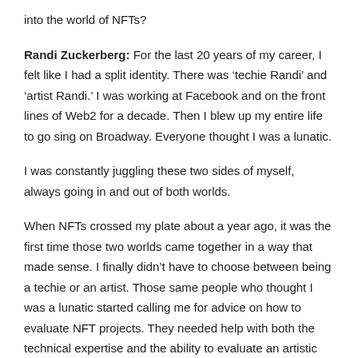into the world of NFTs?
Randi Zuckerberg: For the last 20 years of my career, I felt like I had a split identity. There was ‘techie Randi’ and ‘artist Randi.’ I was working at Facebook and on the front lines of Web2 for a decade. Then I blew up my entire life to go sing on Broadway. Everyone thought I was a lunatic.
I was constantly juggling these two sides of myself, always going in and out of both worlds.
When NFTs crossed my plate about a year ago, it was the first time those two worlds came together in a way that made sense. I finally didn’t have to choose between being a techie or an artist. Those same people who thought I was a lunatic started calling me for advice on how to evaluate NFT projects. They needed help with both the technical expertise and the ability to evaluate an artistic deal.